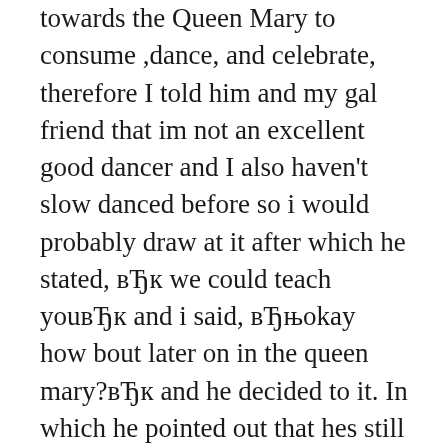towards the Queen Mary to consume ,dance, and celebrate, therefore I told him and my gal friend that im not an excellent good dancer and I also haven't slow danced before so i would probably draw at it after which he stated, вЂк we could teach youвЂк and i said, вЂњokay how bout later on in the queen mary?вЂк and he decided to it. In which he pointed out that hes still lookin for a gf and I also stated youll find the only for your needs and thus can I. i said that while smiling most likely. After which during the queen mary I acquired him from the party flooring so we had been doin like cupid stuff and shuffle like that very first. Party in the united states came on and me personally and him began loudly performing it , he could be therefore funny and pretty. And finally a song that is slow on but i was at the ladies room so i raan out discovered him and got regarding the dance flooring and I also stated, вЂ‎May i have this dance?вЂк after which he stated, вЂњhey thats my line.вЂк and I also said вЂњthen state it after which he